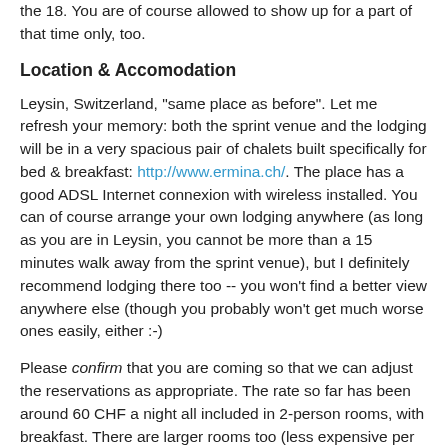the 18. You are of course allowed to show up for a part of that time only, too.
Location & Accomodation
Leysin, Switzerland, "same place as before". Let me refresh your memory: both the sprint venue and the lodging will be in a very spacious pair of chalets built specifically for bed & breakfast: http://www.ermina.ch/. The place has a good ADSL Internet connexion with wireless installed. You can of course arrange your own lodging anywhere (as long as you are in Leysin, you cannot be more than a 15 minutes walk away from the sprint venue), but I definitely recommend lodging there too -- you won't find a better view anywhere else (though you probably won't get much worse ones easily, either :-)
Please confirm that you are coming so that we can adjust the reservations as appropriate. The rate so far has been around 60 CHF a night all included in 2-person rooms, with breakfast. There are larger rooms too (less expensive per person) and maybe the possibility to get a single room if you really want to.